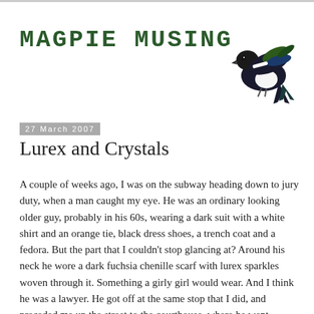MAGPIE MUSING
[Figure (illustration): A magpie bird in flight, illustrated with black, white, green and blue feathers, wings spread, facing left-downward.]
27 March 2007
Lurex and Crystals
A couple of weeks ago, I was on the subway heading down to jury duty, when a man caught my eye. He was an ordinary looking older guy, probably in his 60s, wearing a dark suit with a white shirt and an orange tie, black dress shoes, a trench coat and a fedora. But the part that I couldn't stop glancing at? Around his neck he wore a dark fuchsia chenille scarf with lurex sparkles woven through it. Something a girly girl would wear. And I think he was a lawyer. He got off at the same stop that I did, and preceded me up the street to the courthouse, where he went through security a few steps ahead of me. I almost got off the elevator with him, to see